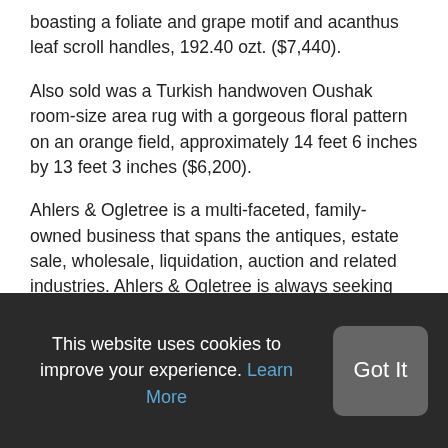boasting a foliate and grape motif and acanthus leaf scroll handles, 192.40 ozt. ($7,440).
Also sold was a Turkish handwoven Oushak room-size area rug with a gorgeous floral pattern on an orange field, approximately 14 feet 6 inches by 13 feet 3 inches ($6,200).
Ahlers & Ogletree is a multi-faceted, family-owned business that spans the antiques, estate sale, wholesale, liquidation, auction and related industries. Ahlers & Ogletree is always seeking quality consignments for future auctions. To consign an item, an estate or a collection, you may call them at 404-869-
This website uses cookies to improve your experience. Learn More